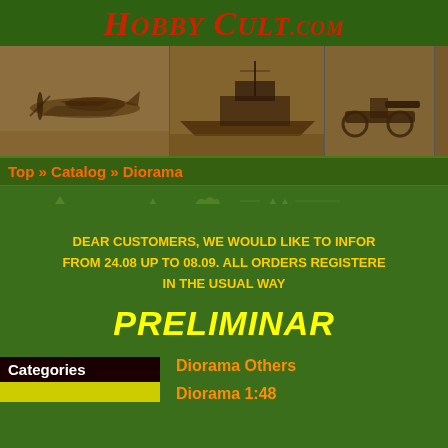HobbyCult.com
[Figure (photo): Sepia-tone banner strip with military model images: aircraft, ship, artillery, tank]
Top » Catalog » Diorama
[Figure (infographic): Small navigation icon row with tiny military model silhouettes]
DEAR CUSTOMERS, WE WOULD LIKE TO INFOR FROM 24.08 UP TO 08.09. ALL ORDERS REGISTERE IN THE USUAL WAY
PRELIMINAR
Diorama Others
Categories
Diorama 1:48